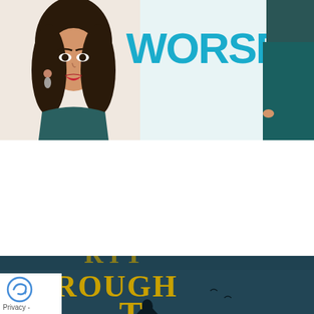[Figure (illustration): Top portion of a book cover for 'For Butter Or Worse' showing illustrated woman with dark hair and red lips on left, large teal text 'WORSE' visible, and a man in teal suit on right]
For Butter Or Worse
August 12, 2022
I wish this had worked for me.
Read More »
[Figure (illustration): Bottom portion of a book cover showing dark fantasy/adventure scene with gold text 'THROUGH' partially visible and a silhouetted figure, moody blue-teal background]
Privacy -